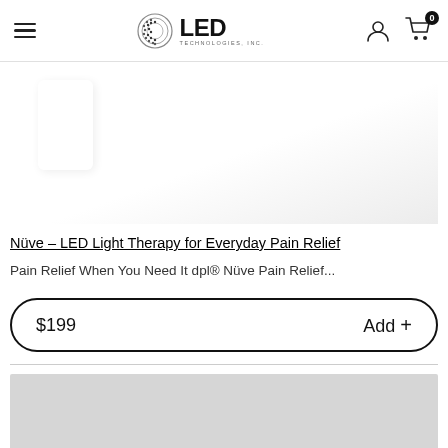LED Technologies, Inc. — navigation header with hamburger menu, logo, user icon, and cart (0)
[Figure (photo): White product image of dpl Nüve LED light therapy device on white background]
Nüve – LED Light Therapy for Everyday Pain Relief
Pain Relief When You Need It dpl® Nüve Pain Relief...
$199   Add +
[Figure (photo): Partial gray product image at the bottom of the page, second product listing]